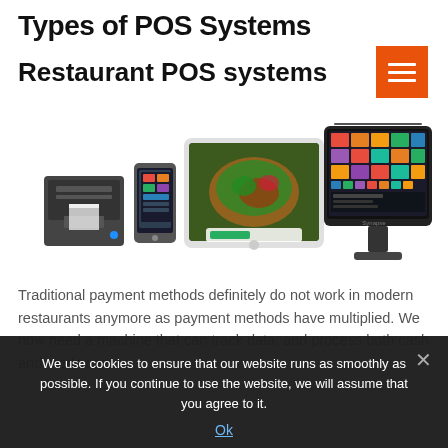Types of POS Systems
Restaurant POS systems
[Figure (photo): POS system hardware including a receipt printer, mobile phone with app, tablet with food image, and a large touchscreen terminal showing a colorful order/menu interface.]
Traditional payment methods definitely do not work in modern restaurants anymore as payment methods have multiplied. We now need a machine that can track data, and process both cash and credit card
We use cookies to ensure that our website runs as smoothly as possible. If you continue to use the website, we will assume that you agree to it.
Ok